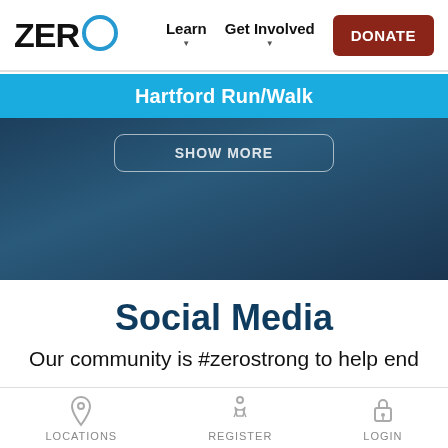ZERO — Learn  Get Involved  DONATE
Hartford Run/Walk
[Figure (screenshot): Dark blue gradient hero section with a 'SHOW MORE' outlined button]
Social Media
Our community is #zerostrong to help end
LOCATIONS  REGISTER  LOGIN